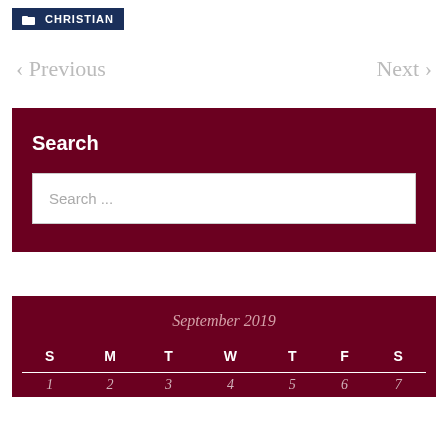CHRISTIAN
< Previous    Next >
Search
Search ...
September 2019
| S | M | T | W | T | F | S |
| --- | --- | --- | --- | --- | --- | --- |
| 1 | 2 | 3 | 4 | 5 | 6 | 7 |